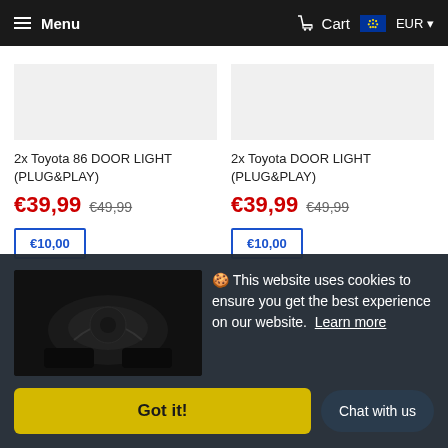Menu | Cart | EUR
2x Toyota 86 DOOR LIGHT (PLUG&PLAY)
€39,99 €49,99
€10,00
2x Toyota DOOR LIGHT (PLUG&PLAY)
€39,99 €49,99
€10,00
🍪 This website uses cookies to ensure you get the best experience on our website. Learn more
Got it!
Chat with us